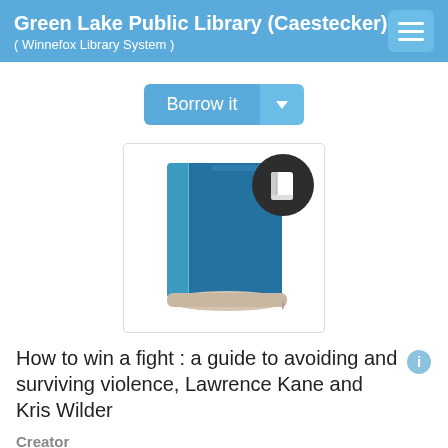Green Lake Public Library (Caestecker)
( Winnefox Library System )
Borrow it
[Figure (illustration): A teal/blue book illustration with a dark circular badge overlay containing a white book icon]
How to win a fight : a guide to avoiding and surviving violence, Lawrence Kane and Kris Wilder
Creator